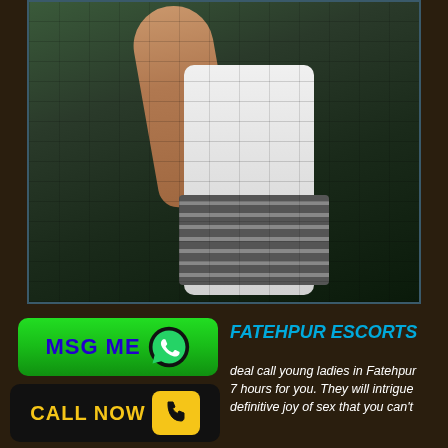[Figure (photo): A person in a white outfit against a brick wall background, torso and arm visible, wearing a decorative belt/corset]
FATEHPUR ESCORTS
deal call young ladies in Fatehpur 7 hours for you. They will intrigue definitive joy of sex that you can't
[Figure (other): Green MSG ME button with WhatsApp icon]
[Figure (other): Black CALL NOW button with yellow phone icon]